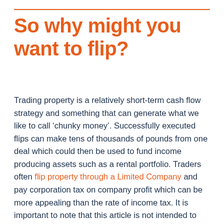So why might you want to flip?
Trading property is a relatively short-term cash flow strategy and something that can generate what we like to call ‘chunky money’. Successfully executed flips can make tens of thousands of pounds from one deal which could then be used to fund income producing assets such as a rental portfolio. Traders often flip property through a Limited Company and pay corporation tax on company profit which can be more appealing than the rate of income tax. It is important to note that this article is not intended to give you financial advice so you should check with a qualified